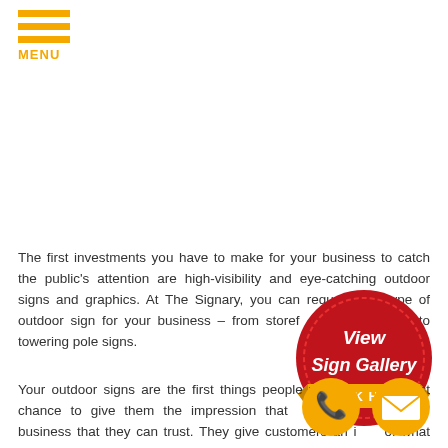MENU
The first investments you have to make for your business to catch the public's attention are high-visibility and eye-catching outdoor signs and graphics. At The Signary, you can request any type of outdoor sign for your business – from storefront vinyl banners to towering pole signs.
Your outdoor signs are the first things people will see – your first chance to give them the impression that you are a legitimate business that they can trust. They give customers an idea of what you are offering and why is its special. They perform the simple but vital duty of letting people know you're ready and ready to serve them.
[Figure (illustration): Red wax seal badge with 'View Sign Gallery' text and golden ribbon banner saying 'CLICK HERE']
[Figure (illustration): Golden circular phone icon button]
[Figure (illustration): Golden circular mail/envelope icon button]